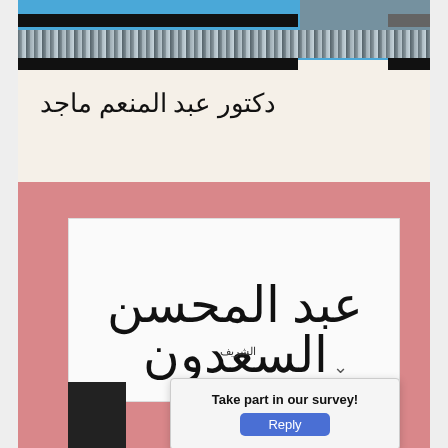[Figure (photo): Top portion of an Arabic book cover with blue banner, decorative patterned strip, dark horizontal stripes, and a small photo in upper right. Arabic author name text reads: دكتور عبد المنعم ماجد]
دكتور عبد المنعم ماجد
[Figure (photo): Bottom portion of an Arabic book cover with pink/salmon background, white inner panel, and large Arabic title text reading: عبد المحسن السعدون]
عبد المحسن السعدون
Take part in our survey!
Reply